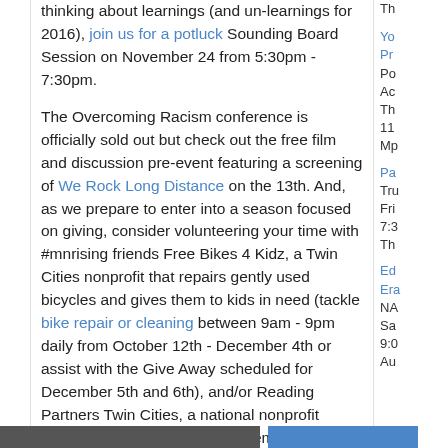thinking about learnings (and un-learnings for 2016), join us for a potluck Sounding Board Session on November 24 from 5:30pm - 7:30pm.
The Overcoming Racism conference is officially sold out but check out the free film and discussion pre-event featuring a screening of We Rock Long Distance on the 13th. And, as we prepare to enter into a season focused on giving, consider volunteering your time with #mnrising friends Free Bikes 4 Kidz, a Twin Cities nonprofit that repairs gently used bicycles and gives them to kids in need (tackle bike repair or cleaning between 9am - 9pm daily from October 12th - December 4th or assist with the Give Away scheduled for December 5th and 6th), and/or Reading Partners Twin Cities, a national nonprofit dedicated to closing the achievement gap by helping elementary students from low-income communities boost their reading confidence and competence (volunteer as a reading tutor for one hour each week during the school year at one of six Twin Cities elementary school sites)!
Th...
Yo... Pr... Po... Ac... Th... 11... Mp...
Pa... Tru... Fri... 7:3... Th...
Ed... Era... NA... Sa... 9:0... Au...